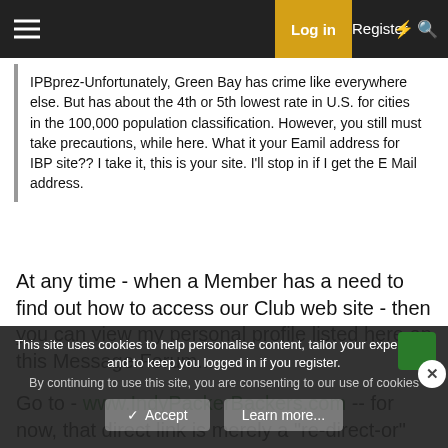Log in  Register
IPBprez-Unfortunately, Green Bay has crime like everywhere else. But has about the 4th or 5th lowest rate in U.S. for cities in the 100,000 population classification. However, you still must take precautions, while here. What it your Eamil address for IBP site?? I take it, this is your site. I'll stop in if I get the E Mail address.
At any time - when a Member has a need to find out how to access our Club web site - then you can view my personal profile listed here on this Message Forum...
Go to - www.IndyPackerBackers.com -- for now, that direct link is merely a "re-direct-or" for the existing MSN Groups web site - so, if you wait the customary 10 seconds, it will take you to another web page... at MSN.
This site uses cookies to help personalise content, tailor your experience and to keep you logged in if you register.
By continuing to use this site, you are consenting to our use of cookies